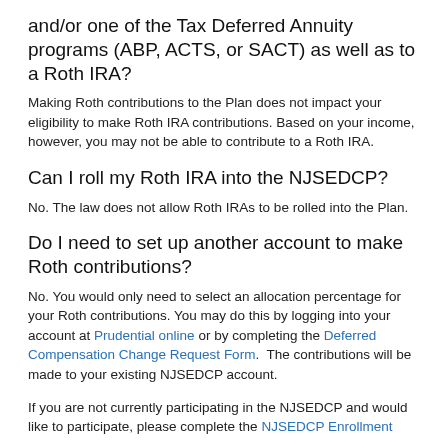and/or one of the Tax Deferred Annuity programs (ABP, ACTS, or SACT) as well as to a Roth IRA?
Making Roth contributions to the Plan does not impact your eligibility to make Roth IRA contributions. Based on your income, however, you may not be able to contribute to a Roth IRA.
Can I roll my Roth IRA into the NJSEDCP?
No. The law does not allow Roth IRAs to be rolled into the Plan.
Do I need to set up another account to make Roth contributions?
No. You would only need to select an allocation percentage for your Roth contributions. You may do this by logging into your account at Prudential online or by completing the Deferred Compensation Change Request Form. The contributions will be made to your existing NJSEDCP account.
If you are not currently participating in the NJSEDCP and would like to participate, please complete the NJSEDCP Enrollment